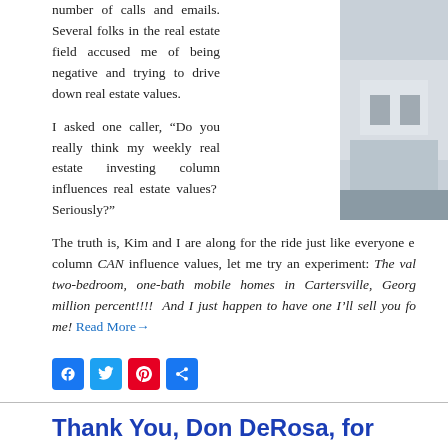number of calls and emails. Several folks in the real estate field accused me of being negative and trying to drive down real estate values.
I asked one caller, “Do you really think my weekly real estate investing column influences real estate values?  Seriously?”
The truth is, Kim and I are along for the ride just like everyone else. But if my column CAN influence values, let me try an experiment: The value of two-bedroom, one-bath mobile homes in Cartersville, Georgia just went up a million percent!!!!  And I just happen to have one I’ll sell you for… just kidding me! Read More→
[Figure (photo): Photo of a building exterior, partially visible on the right side]
Thank You, Don DeRosa, for Teaching the Real Estate Rockstar” Workshop
Posted on January 30, 2012 by Atlanta REIA
We are proud and pleasured to personally thank Don DeRosa...